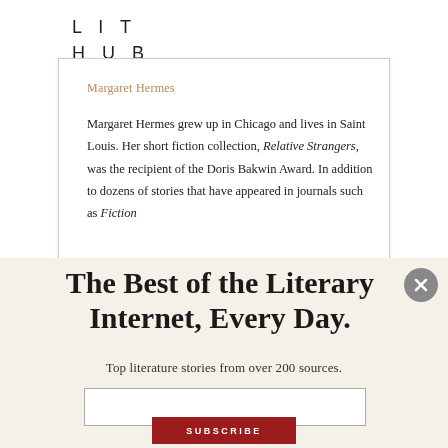LIT HUB
Margaret Hermes
Margaret Hermes grew up in Chicago and lives in Saint Louis. Her short fiction collection, Relative Strangers, was the recipient of the Doris Bakwin Award. In addition to dozens of stories that have appeared in journals such as Fiction
The Best of the Literary Internet, Every Day.
Top literature stories from over 200 sources.